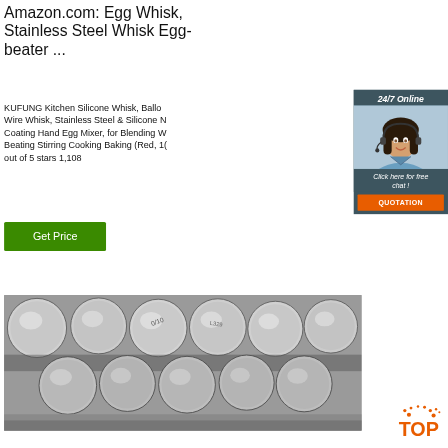Amazon.com: Egg Whisk, Stainless Steel Whisk Egg-beater ...
KUFUNG Kitchen Silicone Whisk, Balloon Wire Whisk, Stainless Steel & Silicone N Coating Hand Egg Mixer, for Blending W Beating Stirring Cooking Baking (Red, 1( out of 5 stars 1,108
[Figure (other): Green 'Get Price' button]
[Figure (other): 24/7 Online chat widget with woman wearing headset, Click here for free chat!, QUOTATION button]
[Figure (photo): Stainless steel round bars/rods bundled together, viewed from the end, showing circular cross-sections]
[Figure (logo): TOP badge in orange with dots above]